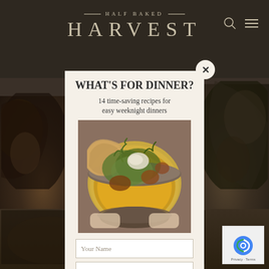HALF BAKED HARVEST
WHAT'S FOR DINNER?
14 time-saving recipes for easy weeknight dinners
[Figure (photo): A bowl of yellow curry with flatbread, garnished with cilantro and coconut flakes, held by hands]
Your Name
Your Email
SEND ME THE RECIPES
I'd like to receive more tips & recipes from Half Baked Harvest.